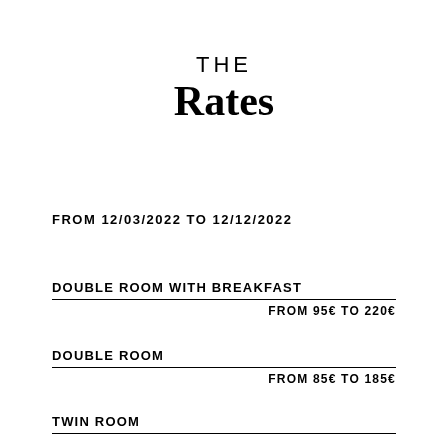THE Rates
FROM 12/03/2022 TO 12/12/2022
DOUBLE ROOM WITH BREAKFAST
FROM 95€ TO 220€
DOUBLE ROOM
FROM 85€ TO 185€
TWIN ROOM